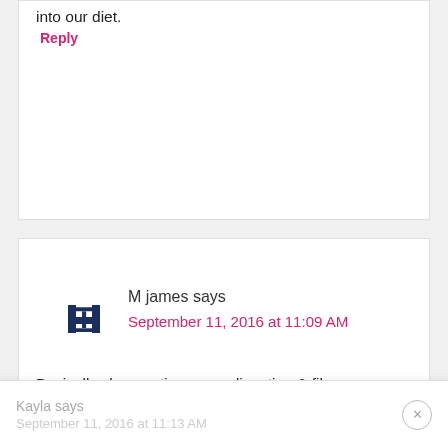into our diet.
Reply
M james says
September 11, 2016 at 11:09 AM
Basically clean eating, easy digestion & fibre.
Reply
Kayla says
September 11, 2016 at 11:13 AM